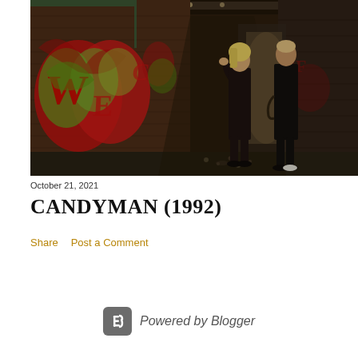[Figure (photo): A dark urban alleyway with graffiti-covered brick walls showing large red and green painted designs. Two figures stand in the corridor — a woman with blonde hair in dark clothing on the left and another person on the right. Debris litters the ground. The scene is from the 1992 horror film Candyman.]
October 21, 2021
CANDYMAN (1992)
Share   Post a Comment
Powered by Blogger